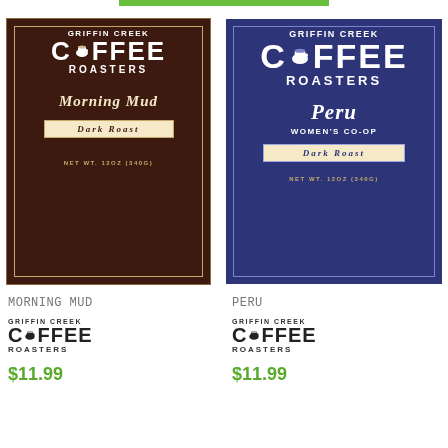[Figure (photo): Griffin Creek Coffee Roasters - Morning Mud Dark Roast coffee bag label, dark brown background with cream border, white text, net wt. 12oz (340g)]
[Figure (photo): Griffin Creek Coffee Roasters - Peru Women's Co-op Dark Roast coffee bag label, dark navy/blue background with white border, white text, net wt. 12oz (340g)]
MORNING MUD
[Figure (logo): Griffin Creek Coffee Roasters small logo - black text]
$11.99
PERU
[Figure (logo): Griffin Creek Coffee Roasters small logo - black text]
$11.99